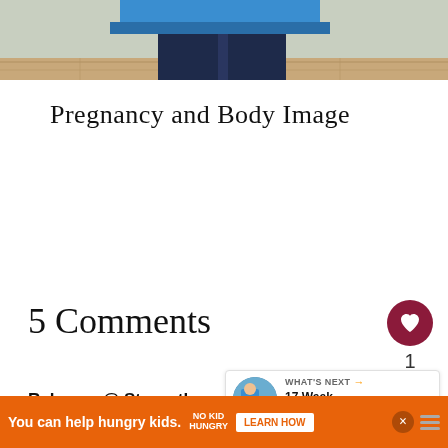[Figure (photo): Top portion of a photo showing a person in a blue top and dark pants, standing on a wooden floor, cropped to show torso/lower body only]
Pregnancy and Body Image
5 Comments
Rebecca @ Strength and Sunshine says:
[Figure (infographic): WHAT'S NEXT arrow banner with thumbnail image linking to '17 Week Pregnancy...']
[Figure (infographic): Advertisement banner: 'You can help hungry kids.' No Kid Hungry logo. LEARN HOW button. Close button.]